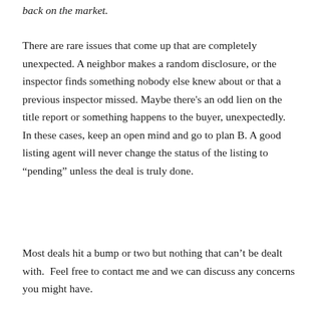back on the market.
There are rare issues that come up that are completely unexpected. A neighbor makes a random disclosure, or the inspector finds something nobody else knew about or that a previous inspector missed. Maybe there’s an odd lien on the title report or something happens to the buyer, unexpectedly. In these cases, keep an open mind and go to plan B. A good listing agent will never change the status of the listing to “pending” unless the deal is truly done.
Most deals hit a bump or two but nothing that can’t be dealt with.  Feel free to contact me and we can discuss any concerns you might have.